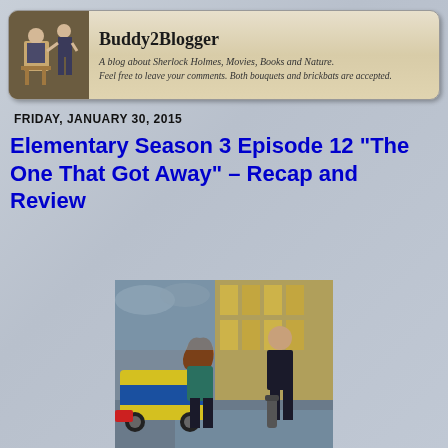Buddy2Blogger
A blog about Sherlock Holmes, Movies, Books and Nature.
Feel free to leave your comments. Both bouquets and brickbats are accepted.
FRIDAY, JANUARY 30, 2015
Elementary Season 3 Episode 12 "The One That Got Away" – Recap and Review
[Figure (photo): A woman with long brown hair wearing a teal leather jacket standing next to a yellow and blue police car, facing a man in a dark suit, with a glass building in the background.]